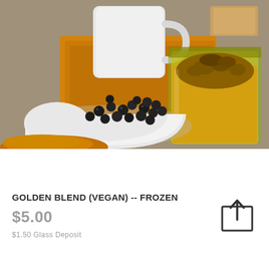[Figure (photo): A glass jar filled with golden turmeric paste/blend with chunky top, next to a white bowl containing black peppercorns and turmeric powder, with an orange napkin and white mug in the background on a gray surface.]
GOLDEN BLEND (VEGAN) -- FROZEN
$5.00
$1.50 Glass Deposit